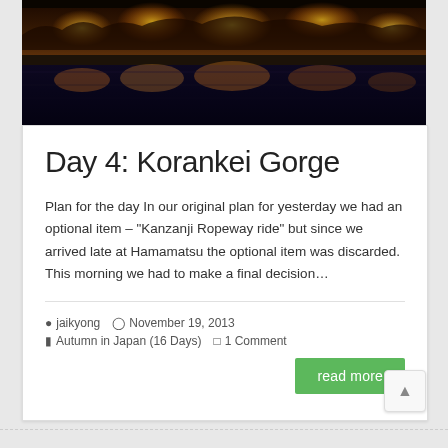[Figure (photo): Nighttime panoramic photo of Korankei Gorge showing golden lights reflecting on the river, with dark water in the foreground and illuminated autumn trees along the banks]
Day 4: Korankei Gorge
Plan for the day In our original plan for yesterday we had an optional item – "Kanzanji Ropeway ride" but since we arrived late at Hamamatsu the optional item was discarded. This morning we had to make a final decision…
jaikyong   November 19, 2013   Autumn in Japan (16 Days)   1 Comment